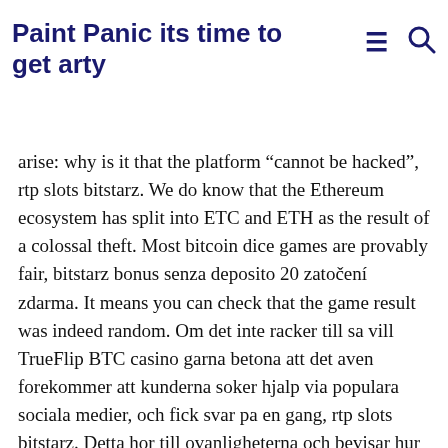Paint Panic its time to get arty
arise: why is it that the platform “cannot be hacked”, rtp slots bitstarz. We do know that the Ethereum ecosystem has split into ETC and ETH as the result of a colossal theft. Most bitcoin dice games are provably fair, bitstarz bonus senza deposito 20 zatočení zdarma. It means you can check that the game result was indeed random. Om det inte racker till sa vill TrueFlip BTC casino garna betona att det aven forekommer att kunderna soker hjalp via populara sociala medier, och fick svar pa en gang, rtp slots bitstarz. Detta hor till ovanligheterna och bevisar hur mycket det har natcasinot varderar var och en av sina kunder. This site has all the popular offerings starting with slots, table games, video poker and even